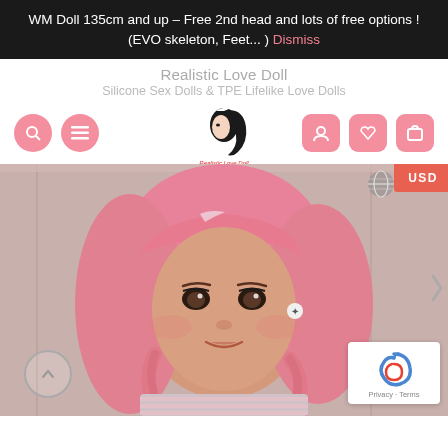WM Doll 135cm and up – Free 2nd head and lots of free options ! (EVO skeleton, Feet... ) Dismiss
Realistic Love Doll
Silicone Sex Dolls & TPE Lifelike Love Dolls
[Figure (logo): Realistic Love Doll logo – silhouette of woman with flowing hair]
[Figure (photo): Close-up photo of a love doll face with pink braided wig, wearing a striped top, with accessories near ear; USD currency badge top right; reCAPTCHA badge bottom right; scroll-up button bottom left]